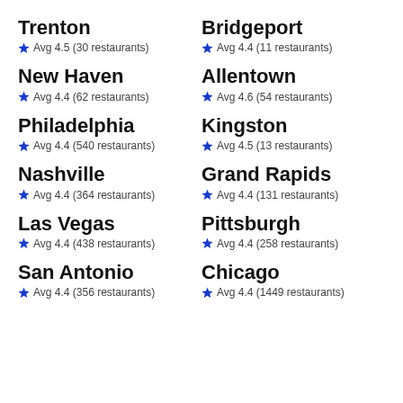Trenton — Avg 4.5 (30 restaurants)
Bridgeport — Avg 4.4 (11 restaurants)
New Haven — Avg 4.4 (62 restaurants)
Allentown — Avg 4.6 (54 restaurants)
Philadelphia — Avg 4.4 (540 restaurants)
Kingston — Avg 4.5 (13 restaurants)
Nashville — Avg 4.4 (364 restaurants)
Grand Rapids — Avg 4.4 (131 restaurants)
Las Vegas — Avg 4.4 (438 restaurants)
Pittsburgh — Avg 4.4 (258 restaurants)
San Antonio — Avg 4.4 (356 restaurants)
Chicago — Avg 4.4 (1449 restaurants)